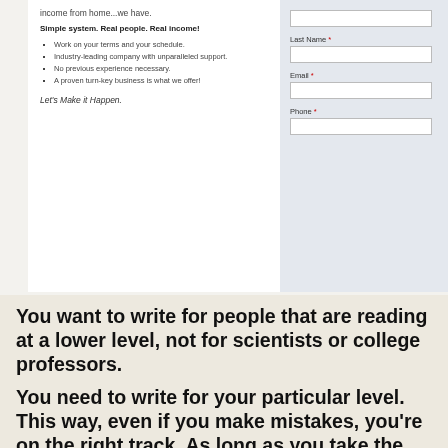[Figure (screenshot): Screenshot of a webpage with a form and marketing copy about earning income from home. Left side shows bullet points about the offer; right side shows a form with Last Name, Email, and Phone fields.]
You want to write for people that are reading at a lower level, not for scientists or college professors.
You need to write for your particular level. This way, even if you make mistakes, you're on the right track. As long as you take the time to make sure you are doing your best with your writing, everything should be fine.
Do you participate with social media networks? These are a great way for people